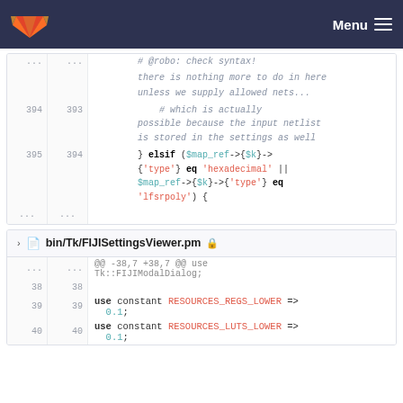GitLab Menu
[Figure (screenshot): Code diff panel showing Perl code lines 393-395 with comments about checking syntax and elsif conditional for hexadecimal or lfsrpoly types]
bin/Tk/FIJISettingsViewer.pm
[Figure (screenshot): Code diff panel for bin/Tk/FIJISettingsViewer.pm showing lines 38-40 with use constant RESOURCES_REGS_LOWER and RESOURCES_LUTS_LOWER declarations]